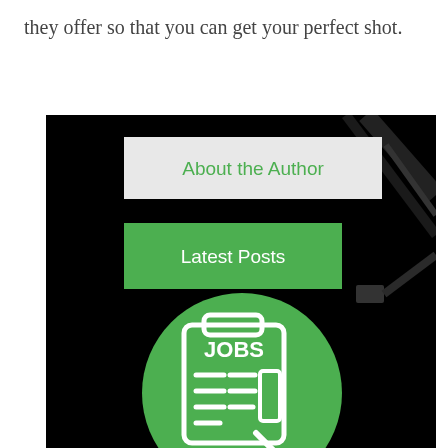they offer so that you can get your perfect shot.
[Figure (illustration): Dark background image (vinyl record/cable visible) with two overlaid UI buttons: a light grey 'About the Author' button and a green 'Latest Posts' button, plus a green circular jobs icon at the bottom center showing a jobs listing graphic with 'JOBS' text and lines.]